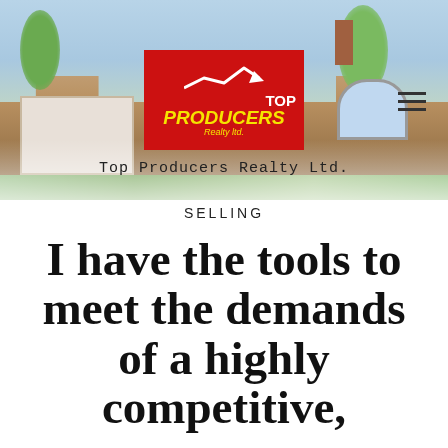[Figure (photo): Background photo of a suburban brick house with garage, trees, and landscaping. Red Top Producers Realty Ltd. logo centered on top, hamburger menu icon top right. Company name 'Top Producers Realty Ltd.' displayed below logo.]
SELLING
I have the tools to meet the demands of a highly competitive,